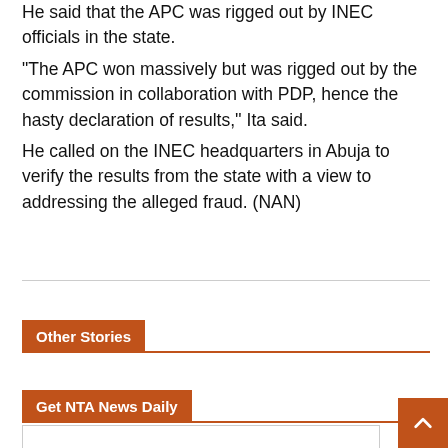He said that the APC was rigged out by INEC officials in the state.
“The APC won massively but was rigged out by the commission in collaboration with PDP, hence the hasty declaration of results,’’ Ita said.
He called on the INEC headquarters in Abuja to verify the results from the state with a view to addressing the alleged fraud. (NAN)
Other Stories
Get NTA News Daily